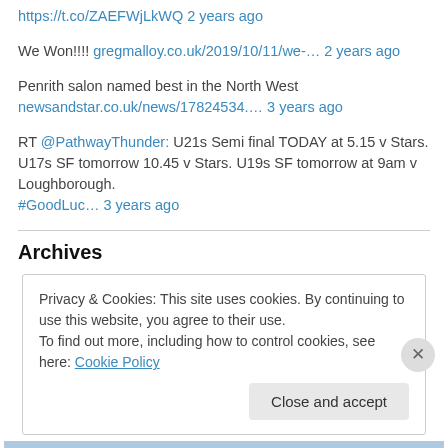https://t.co/ZAEFWjLkWQ 2 years ago
We Won!!!! gregmalloy.co.uk/2019/10/11/we-… 2 years ago
Penrith salon named best in the North West
newsandstar.co.uk/news/17824534.… 3 years ago
RT @PathwayThunder: U21s Semi final TODAY at 5.15 v Stars. U17s SF tomorrow 10.45 v Stars. U19s SF tomorrow at 9am v Loughborough. #GoodLuc… 3 years ago
Archives
Privacy & Cookies: This site uses cookies. By continuing to use this website, you agree to their use.
To find out more, including how to control cookies, see here: Cookie Policy
Close and accept